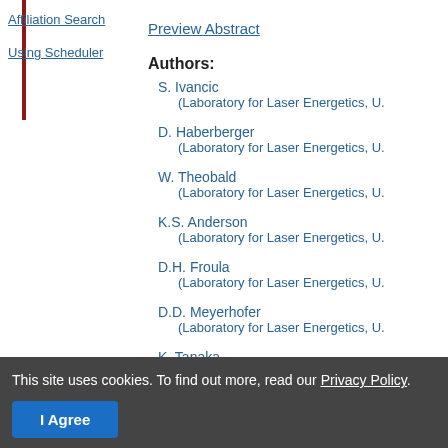Affiliation Search
Using Scheduler
Preview Abstract
Authors:
S. Ivancic
(Laboratory for Laser Energetics, U...
D. Haberberger
(Laboratory for Laser Energetics, U...
W. Theobald
(Laboratory for Laser Energetics, U...
K.S. Anderson
(Laboratory for Laser Energetics, U...
D.H. Froula
(Laboratory for Laser Energetics, U...
D.D. Meyerhofer
(Laboratory for Laser Energetics, U...
K. Tanaka
(Osaka University)
T. Iwawaki
(Osaka University)
This site uses cookies. To find out more, read our Privacy Policy.
I Agree